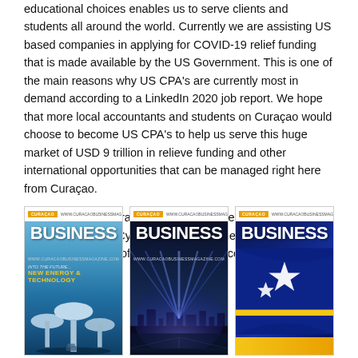educational choices enables us to serve clients and students all around the world. Currently we are assisting US based companies in applying for COVID-19 relief funding that is made available by the US Government. This is one of the main reasons why US CPA's are currently most in demand according to a LinkedIn 2020 job report. We hope that more local accountants and students on Curaçao would choose to become US CPA's to help us serve this huge market of USD 9 trillion in relieve funding and other international opportunities that can be managed right here from Curaçao.
Before the Covid-era, I was also a frequent speaker in New York at the Yearly Cybersecurity Awareness event organized by the Association of Certified Public Accountants (AICPA).
[Figure (photo): Three Curaçao Business magazine covers side by side. Left cover: 'Into the Future... New Energy & Technology' with futuristic mushroom-shaped structures on blue sky. Middle cover: light beams over a city waterfront at night. Right cover: Curaçao flag with stars on dark blue background.]